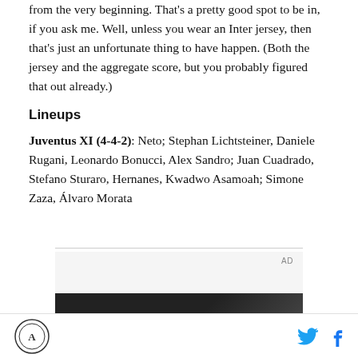from the very beginning. That's a pretty good spot to be in, if you ask me. Well, unless you wear an Inter jersey, then that's just an unfortunate thing to have happen. (Both the jersey and the aggregate score, but you probably figured that out already.)
Lineups
Juventus XI (4-4-2): Neto; Stephan Lichtsteiner, Daniele Rugani, Leonardo Bonucci, Alex Sandro; Juan Cuadrado, Stefano Sturaro, Hernanes, Kwadwo Asamoah; Simone Zaza, Álvaro Morata
[Figure (other): Advertisement block with AD label and dark banner]
Site logo, Twitter icon, Facebook icon